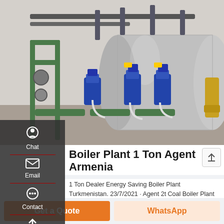[Figure (photo): Industrial boiler plant showing a large cylindrical stainless steel boiler with green pipes, blue pumps, and various valves and fittings in an industrial room setting.]
Boiler Plant 1 Ton Agent Armenia
1 Ton Dealer Energy Saving Boiler Plant Turkmenistan. 23/7/2021 · Agent 2t Coal Boiler Plant High Efficiency Latvia Energy Saving Agent 4t Biomass Fired Boiler Moldavia. 6T 1 Ton Boiler Agent Fuel Consumption Steam Boiler … 10 Ton Oil Steam Boiler - cmp-h.org.uk. WNS 1t …